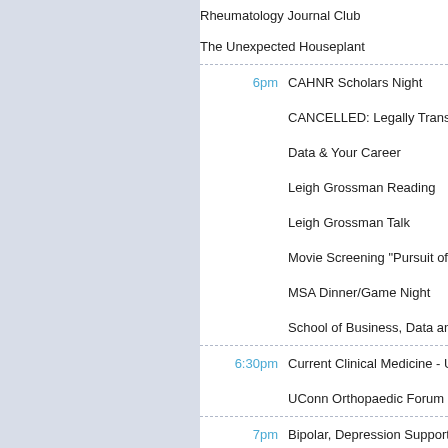Rheumatology Journal Club
The Unexpected Houseplant
6pm  CAHNR Scholars Night
CANCELLED: Legally Trans
Data & Your Career
Leigh Grossman Reading
Leigh Grossman Talk
Movie Screening "Pursuit of Hap..."
MSA Dinner/Game Night
School of Business, Data and Yo...
6:30pm  Current Clinical Medicine - Urolo...
UConn Orthopaedic Forum
7pm  Bipolar, Depression Support Gro...
7:30pm  Camille A. Brown & Dancers: IN...
8pm  Climbing Orientation